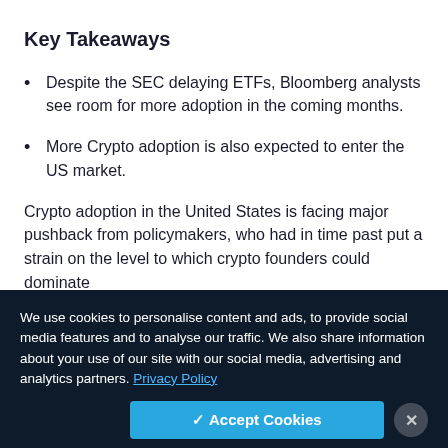Key Takeaways
Despite the SEC delaying ETFs, Bloomberg analysts see room for more adoption in the coming months.
More Crypto adoption is also expected to enter the US market.
Crypto adoption in the United States is facing major pushback from policymakers, who had in time past put a strain on the level to which crypto founders could dominate
We use cookies to personalise content and ads, to provide social media features and to analyse our traffic. We also share information about your use of our site with our social media, advertising and analytics partners. Privacy Policy